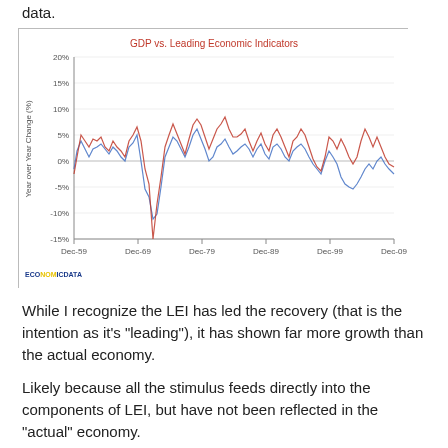data.
[Figure (line-chart): Multi-line chart showing GDP vs Leading Economic Indicators year-over-year change from Dec-59 to Dec-09, ranging from about -15% to 20%.]
While I recognize the LEI has led the recovery (that is the intention as it's "leading"), it has shown far more growth than the actual economy.
Likely because all the stimulus feeds directly into the components of LEI, but have not been reflected in the "actual" economy.